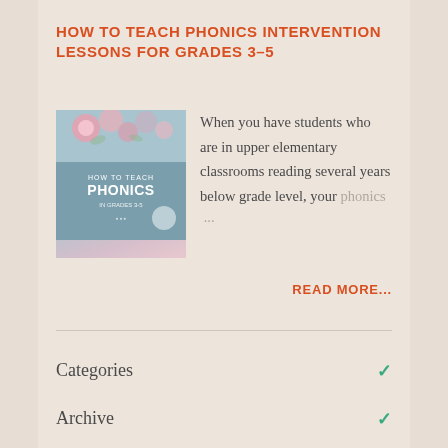HOW TO TEACH PHONICS INTERVENTION LESSONS FOR GRADES 3–5
[Figure (photo): Book cover thumbnail showing flowers at top and text 'HOW TO TEACH PHONICS IN GRADES 3-5' on a blue-grey background]
When you have students who are in upper elementary classrooms reading several years below grade level, your phonics …
READ MORE...
Categories
Archive